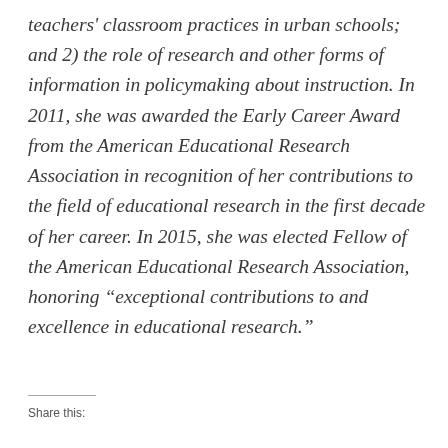teachers' classroom practices in urban schools; and 2) the role of research and other forms of information in policymaking about instruction. In 2011, she was awarded the Early Career Award from the American Educational Research Association in recognition of her contributions to the field of educational research in the first decade of her career. In 2015, she was elected Fellow of the American Educational Research Association, honoring “exceptional contributions to and excellence in educational research.”
Share this: